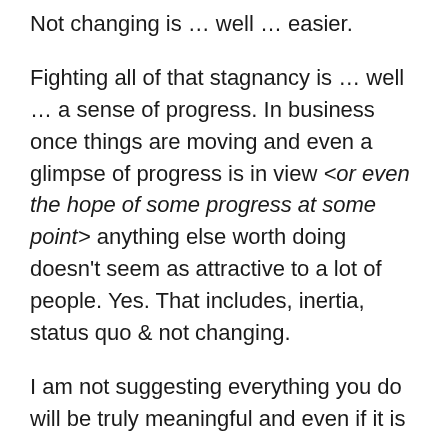Not changing is … well … easier.
Fighting all of that stagnancy is … well … a sense of progress. In business once things are moving and even a glimpse of progress is in view <or even the hope of some progress at some point> anything else worth doing doesn't seem as attractive to a lot of people. Yes. That includes, inertia, status quo & not changing.
I am not suggesting everything you do will be truly meaningful and even if it is